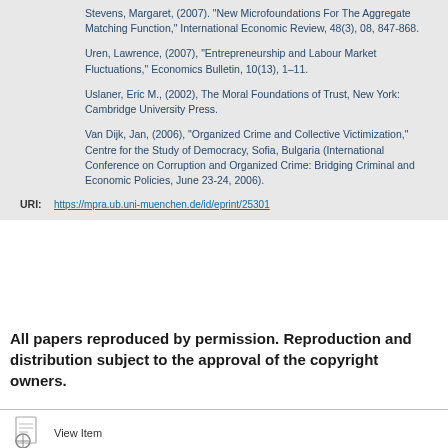Stevens, Margaret, (2007). "New Microfoundations For The Aggregate Matching Function," International Economic Review, 48(3), 08, 847-868.
Uren, Lawrence, (2007), "Entrepreneurship and Labour Market Fluctuations," Economics Bulletin, 10(13), 1–11.
Uslaner, Eric M., (2002), The Moral Foundations of Trust, New York: Cambridge University Press.
Van Dijk, Jan, (2006), "Organized Crime and Collective Victimization," Centre for the Study of Democracy, Sofia, Bulgaria (International Conference on Corruption and Organized Crime: Bridging Criminal and Economic Policies, June 23-24, 2006).
URI: https://mpra.ub.uni-muenchen.de/id/eprint/25301
All papers reproduced by permission. Reproduction and distribution subject to the approval of the copyright owners.
View Item